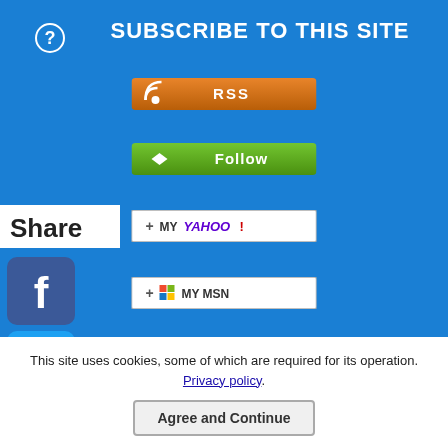SUBSCRIBE TO THIS SITE
[Figure (infographic): RSS subscription button (orange)]
[Figure (infographic): Follow button (green)]
[Figure (infographic): Add to My Yahoo! button]
[Figure (infographic): Add to My MSN button]
[Figure (infographic): Add to Bloglines button]
Share
[Figure (infographic): Social share icons: Facebook, Twitter, Pinterest, Tumblr, Reddit, WhatsApp]
OVERY HUB INDEX
T HOW-TO TIPS BLOG!
Help Guides
NALING FOR BEGINNERS
This site uses cookies, some of which are required for its operation. Privacy policy.
Agree and Continue